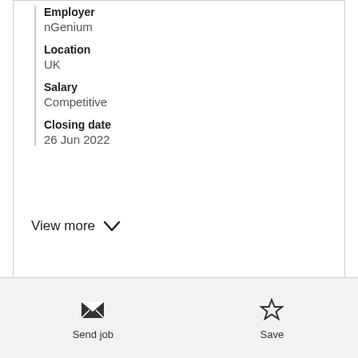Employer
nGenium
Location
UK
Salary
Competitive
Closing date
26 Jun 2022
View more
Send job    Save